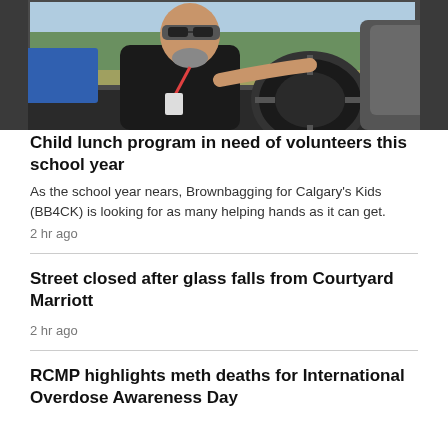[Figure (photo): A man wearing sunglasses and a lanyard/badge sits in the driver's seat of a car, one hand on the steering wheel. A blue box is visible in the back seat. The photo is taken from inside the vehicle.]
Child lunch program in need of volunteers this school year
As the school year nears, Brownbagging for Calgary's Kids (BB4CK) is looking for as many helping hands as it can get.
2 hr ago
Street closed after glass falls from Courtyard Marriott
2 hr ago
RCMP highlights meth deaths for International Overdose Awareness Day